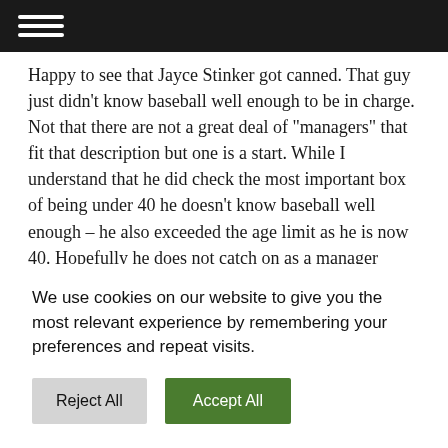Happy to see that Jayce Stinker got canned. That guy just didn’t know baseball well enough to be in charge. Not that there are not a great deal of “managers” that fit that description but one is a start. While I understand that he did check the most important box of being under 40 he doesn’t know baseball well enough – he also exceeded the age limit as he is now 40. Hopefully he does not catch on as a manager anywhere else. There is no reason he can’t be a bench coach or something like that. In any
We use cookies on our website to give you the most relevant experience by remembering your preferences and repeat visits.